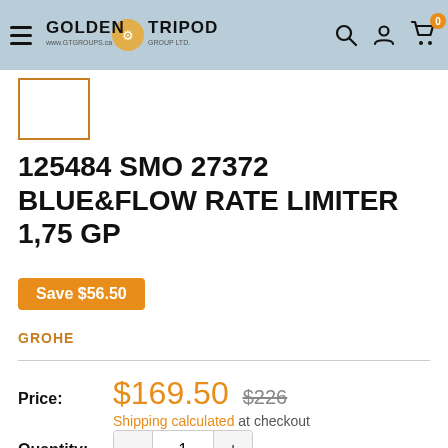Golden Tripod Group Ltd. — www.gtgroups.ca
[Figure (other): Small product thumbnail box with orange border]
125484 SMO 27372 BLUE&FLOW RATE LIMITER 1,75 GP
Save $56.50
GROHE
Price: $169.50  $226  Shipping calculated at checkout
Quantity: 1